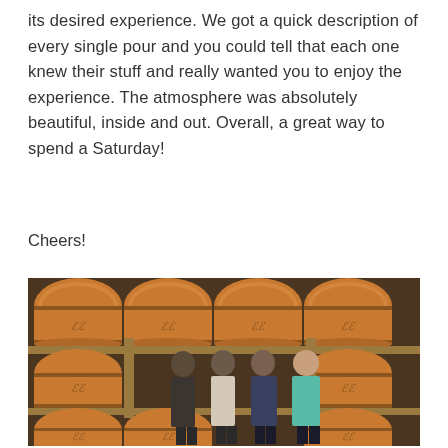its desired experience. We got a quick description of every single pour and you could tell that each one knew their stuff and really wanted you to enjoy the experience. The atmosphere was absolutely beautiful, inside and out. Overall, a great way to spend a Saturday!
Cheers!
[Figure (photo): Four women standing in front of rows of wine barrels stacked on wooden racks in a winery cellar. The barrels have a logo stamped on the front. The women are smiling and some are holding wine glasses.]